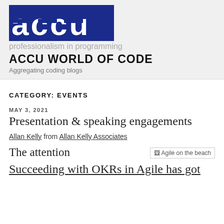[Figure (logo): ACCU logo in dark blue block letters 'accu' with rectangular highlights]
professionalism in programming
ACCU WORLD OF CODE
Aggregating coding blogs
CATEGORY: EVENTS
MAY 3, 2021
Presentation & speaking engagements
Allan Kelly from Allan Kelly Associates
The attention
[Figure (photo): Agile on the beach image placeholder]
Succeeding with OKRs in Agile has got